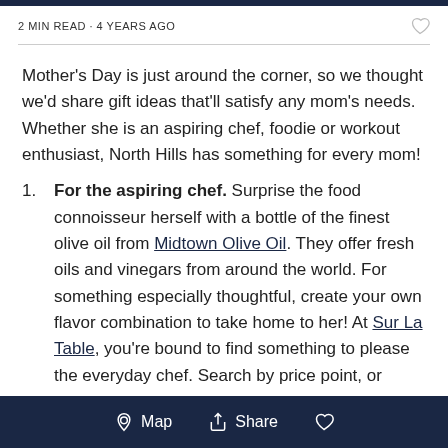2 MIN READ · 4 YEARS AGO
Mother's Day is just around the corner, so we thought we'd share gift ideas that'll satisfy any mom's needs. Whether she is an aspiring chef, foodie or workout enthusiast, North Hills has something for every mom!
For the aspiring chef. Surprise the food connoisseur herself with a bottle of the finest olive oil from Midtown Olive Oil. They offer fresh oils and vinegars from around the world. For something especially thoughtful, create your own flavor combination to take home to her! At Sur La Table, you're bound to find something to please the everyday chef. Search by price point, or category…
Map  Share